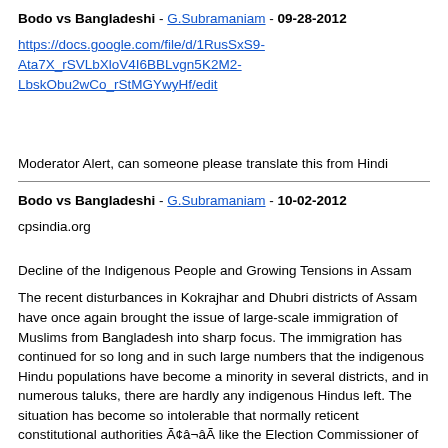Bodo vs Bangladeshi - G.Subramaniam - 09-28-2012
https://docs.google.com/file/d/1RusSxS9-Ata7X_rSVLbXloV4I6BBLvgn5K2M2-LbskObu2wCo_rStMGYwyHf/edit
Moderator Alert, can someone please translate this from Hindi
Bodo vs Bangladeshi - G.Subramaniam - 10-02-2012
cpsindia.org
Decline of the Indigenous People and Growing Tensions in Assam
The recent disturbances in Kokrajhar and Dhubri districts of Assam have once again brought the issue of large-scale immigration of Muslims from Bangladesh into sharp focus. The immigration has continued for so long and in such large numbers that the indigenous Hindu populations have become a minority in several districts, and in numerous taluks, there are hardly any indigenous Hindus left. The situation has become so intolerable that normally reticent constitutional authorities Ã¢â¬âÃ like the Election Commissioner of India, Sri Harishankar Brahma Ã¢â¬âÃ have been forced to make their apprehensions public. And even committed secular scholars have been constrained to recognize the